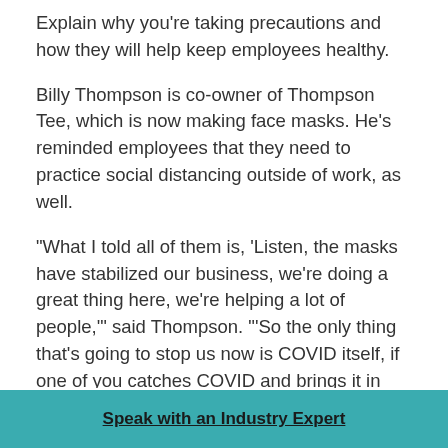Explain why you're taking precautions and how they will help keep employees healthy.
Billy Thompson is co-owner of Thompson Tee, which is now making face masks. He's reminded employees that they need to practice social distancing outside of work, as well.
“What I told all of them is, ‘Listen, the masks have stabilized our business, we’re doing a great thing here, we’re helping a lot of people,’” said Thompson. “‘So the only thing that’s going to stop us now is COVID itself, if one of you catches COVID and brings it in here and forces the operation to shut down.’ I said, ‘So please just keep that in mind as you guys go about your days and your free time when you’re outside the
Speak with an Industry Expert